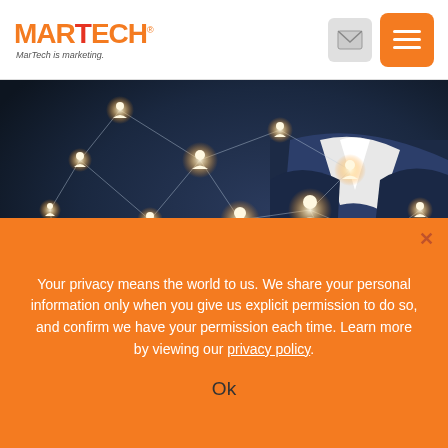MarTech — MarTech is marketing.
[Figure (photo): A businesswoman in a suit holding a tablet, with a glowing digital network of person icons connected by lines floating in front of her, suggesting social network connectivity.]
Your privacy means the world to us. We share your personal information only when you give us explicit permission to do so, and confirm we have your permission each time. Learn more by viewing our privacy policy.
Ok